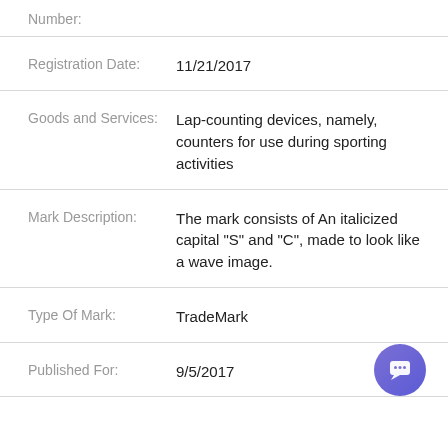Number:
Registration Date: 11/21/2017
Goods and Services: Lap-counting devices, namely, counters for use during sporting activities
Mark Description: The mark consists of An italicized capital "S" and "C", made to look like a wave image.
Type Of Mark: TradeMark
Published For: 9/5/2017